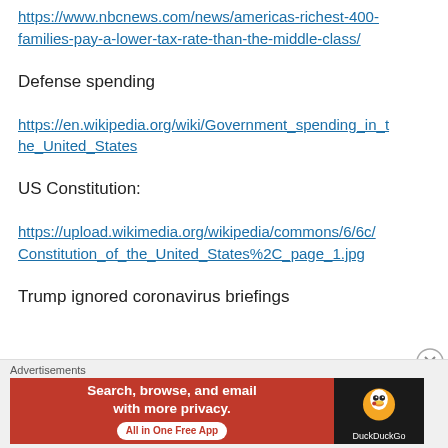https://www.nbcnews.com/news/americas-richest-400-families-pay-a-lower-tax-rate-than-the-middle-class/
Defense spending
https://en.wikipedia.org/wiki/Government_spending_in_the_United_States
US Constitution:
https://upload.wikimedia.org/wikipedia/commons/6/6c/Constitution_of_the_United_States%2C_page_1.jpg
Trump ignored coronavirus briefings
Advertisements — Search, browse, and email with more privacy. All in One Free App — DuckDuckGo